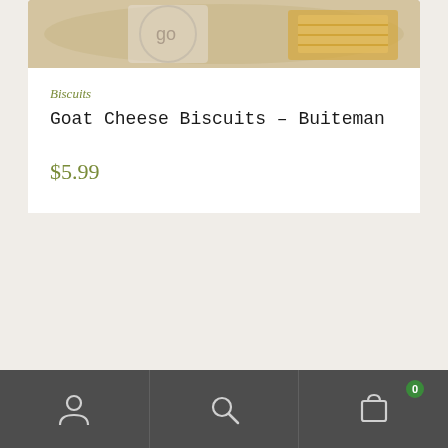[Figure (photo): Product photo of Goat Cheese Biscuits at top of card, partially cropped]
Biscuits
Goat Cheese Biscuits – Buiteman
$5.99
[Figure (screenshot): Bottom navigation bar with user account icon, search icon, and shopping bag icon with badge showing 0]